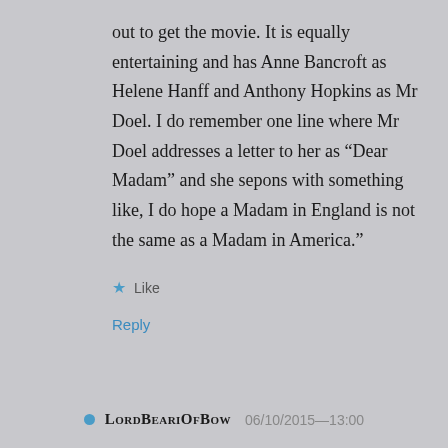out to get the movie. It is equally entertaining and has Anne Bancroft as Helene Hanff and Anthony Hopkins as Mr Doel. I do remember one line where Mr Doel addresses a letter to her as “Dear Madam” and she sepons with something like, I do hope a Madam in England is not the same as a Madam in America.”
★ Like
Reply
LordBeariOfBow 06/10/2015—13:00